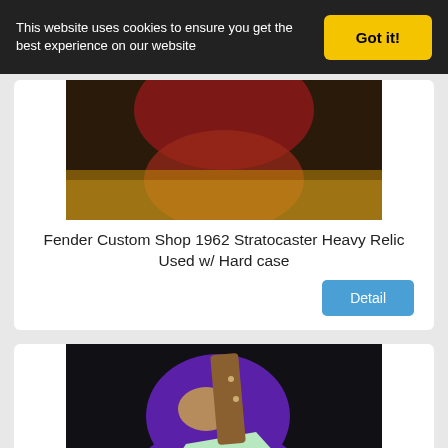This website uses cookies to ensure you get the best experience on our website
Got it!
[Figure (photo): Partial view of a guitar in a case, reddish/orange finish]
Fender Custom Shop 1962 Stratocaster Heavy Relic Used w/ Hard case
Detail
[Figure (photo): Purple heavy relic Fender Custom Shop 1962 Stratocaster guitar with mint green pickguard on dark background, L&G Guitars watermark]
FENDER CUSTOM SHOP 1962 STRATOCASTER HEAVY RELIC-PURPLE
Detail
[Figure (photo): Partial view of a sunburst Fender Stratocaster guitar]